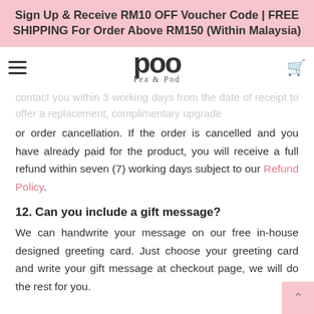Sign Up & Receive RM10 OFF Voucher Code | FREE SHIPPING For Order Above RM150 (Within Malaysia)
[Figure (logo): Pea & Pod logo with stylized 'poo' lettering above and 'Pea & Pod' in serif text below]
contact you within 3 working days from the date of receipt to offer a replacement, complimentary upgrade or order cancellation. If the order is cancelled and you have already paid for the product, you will receive a full refund within seven (7) working days subject to our Refund Policy.
12. Can you include a gift message?
We can handwrite your message on our free in-house designed greeting card. Just choose your greeting card and write your gift message at checkout page, we will do the rest for you.